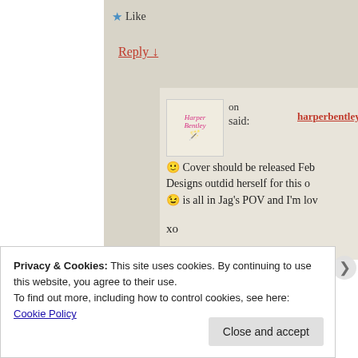★ Like
Reply ↓
harperbentleywrites on said:
🙂 Cover should be released Feb Designs outdid herself for this o 😉 is all in Jag's POV and I'm lov
xo
Privacy & Cookies: This site uses cookies. By continuing to use this website, you agree to their use.
To find out more, including how to control cookies, see here:
Cookie Policy
Close and accept